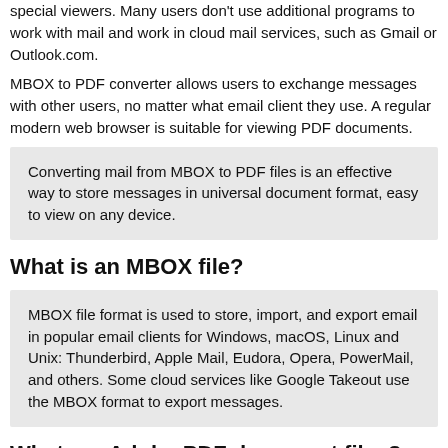special viewers. Many users don't use additional programs to work with mail and work in cloud mail services, such as Gmail or Outlook.com.
MBOX to PDF converter allows users to exchange messages with other users, no matter what email client they use. A regular modern web browser is suitable for viewing PDF documents.
Converting mail from MBOX to PDF files is an effective way to store messages in universal document format, easy to view on any device.
What is an MBOX file?
MBOX file format is used to store, import, and export email in popular email clients for Windows, macOS, Linux and Unix: Thunderbird, Apple Mail, Eudora, Opera, PowerMail, and others. Some cloud services like Google Takeout use the MBOX format to export messages.
What are Adobe PDF document files?